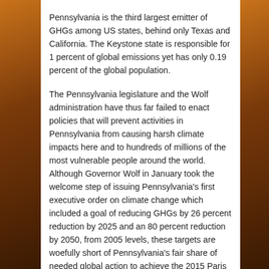Pennsylvania is the third largest emitter of GHGs among US states, behind only Texas and California. The Keystone state is responsible for 1 percent of global emissions yet has only 0.19 percent of the global population.
The Pennsylvania legislature and the Wolf administration have thus far failed to enact policies that will prevent activities in Pennsylvania from causing harsh climate impacts here and to hundreds of millions of the most vulnerable people around the world.  Although Governor Wolf in January took the welcome step of issuing Pennsylvania's first executive order on climate change which included a goal of reducing GHGs by 26 percent reduction by 2025 and an 80 percent reduction by 2050, from 2005 levels, these targets are woefully short of Pennsylvania's fair share of needed global action to achieve the 2015 Paris Agreement's goal of limiting warming as close as possible to 1.5 ⁰C and no greater than 2.0 ⁰ C and nothing has yet been done to